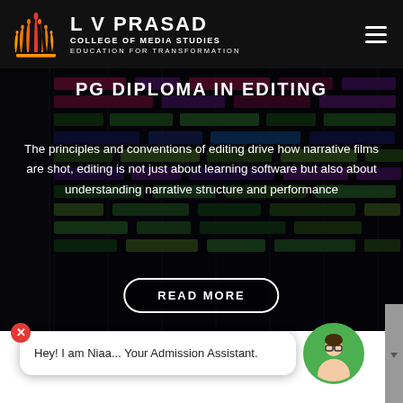L V PRASAD | COLLEGE OF MEDIA STUDIES | EDUCATION FOR TRANSFORMATION
PG DIPLOMA IN EDITING
The principles and conventions of editing drive how narrative films are shot, editing is not just about learning software but also about understanding narrative structure and performance
[Figure (screenshot): Dark background showing a non-linear video editing software timeline with colorful green and purple clip blocks arranged in multiple tracks]
READ MORE
Hey! I am Niaa... Your Admission Assistant.